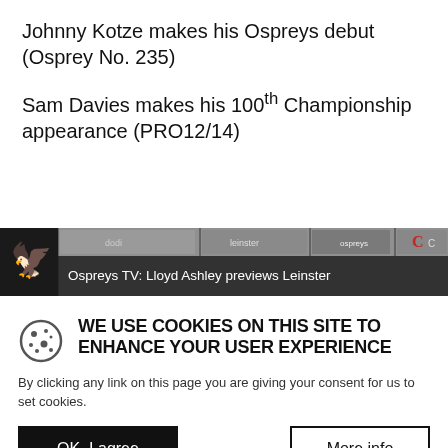Johnny Kotze makes his Ospreys debut (Osprey No. 235)
Sam Davies makes his 100th Championship appearance (PRO12/14)
[Figure (screenshot): Video thumbnail strip showing Ospreys TV logo and text 'Ospreys TV: Lloyd Ashley previews Leinster' with sponsor logos in background]
WE USE COOKIES ON THIS SITE TO ENHANCE YOUR USER EXPERIENCE
By clicking any link on this page you are giving your consent for us to set cookies.
OK, I agree
More info